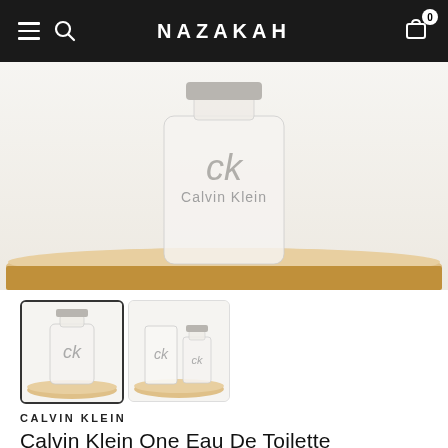NAZAKAH
[Figure (photo): Calvin Klein One Eau De Toilette fragrance bottle resting on a wooden oval shelf, white/frosted glass bottle with Calvin Klein branding, light neutral background]
[Figure (photo): Thumbnail 1: CK One bottle alone on wooden tray (selected/active)]
[Figure (photo): Thumbnail 2: CK One box and bottle together on wooden tray]
CALVIN KLEIN
Calvin Klein One Eau De Toilette
14.000 KWD